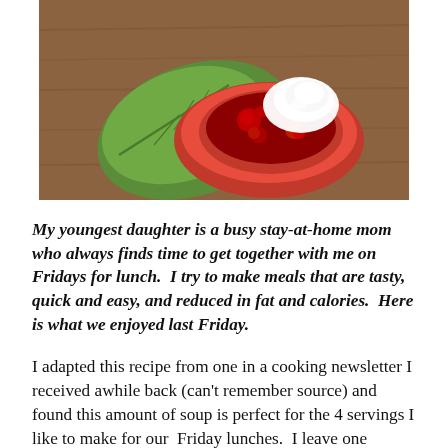[Figure (photo): A decorative ceramic dish with red cherry pie filling and whipped cream on top, shaped like a leaf, placed on a wooden surface.]
My youngest daughter is a busy stay-at-home mom who always finds time to get together with me on Fridays for lunch.  I try to make meals that are tasty, quick and easy, and reduced in fat and calories.  Here is what we enjoyed last Friday.
I adapted this recipe from one in a cooking newsletter I received awhile back (can't remember source) and found this amount of soup is perfect for the 4 servings I like to make for our  Friday lunches.  I leave one serving on the table for my daughter who works at home and take three servings in…